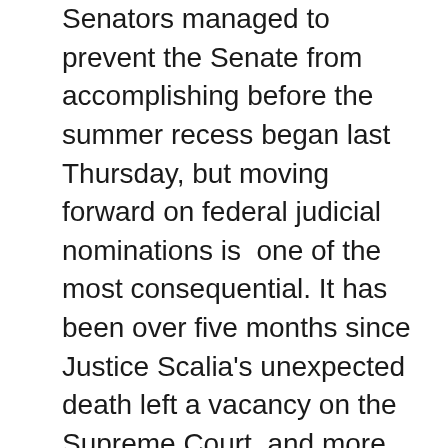Senators managed to prevent the Senate from accomplishing before the summer recess began last Thursday, but moving forward on federal judicial nominations is one of the most consequential. It has been over five months since Justice Scalia's unexpected death left a vacancy on the Supreme Court, and more than four months since President Obama nominated Judge Merrick Garland to fill that vacancy. It continues to fly in the face of history, tradition, and the requirements of the Constitution that Senate Republicans refuse to take action on Judge Garland's nomination. As President Obama stated in a column today, if Senate Republicans continue to refuse to even hold hearings for this incredibly well-regarded nominee, “the consequences of congressional inaction could weaken our most important institutions, erode public trust and undermine our